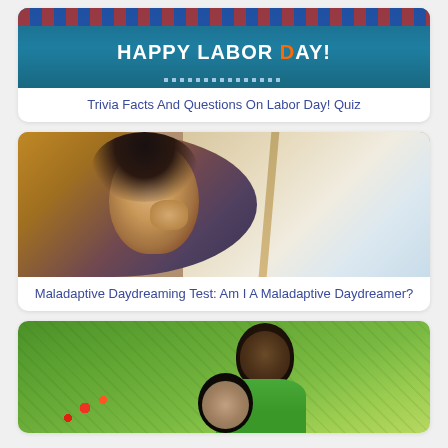[Figure (photo): Happy Labor Day banner image with teal/dark blue background and festive decorations]
Trivia Facts And Questions On Labor Day! Quiz
[Figure (photo): Young woman with dark hair in yellow cardigan gazing out a train window, looking thoughtful]
Maladaptive Daydreaming Test: Am I A Maladaptive Daydreamer?
[Figure (photo): Couple outdoors on grass, a woman and man smiling and embracing, with flowers in background]